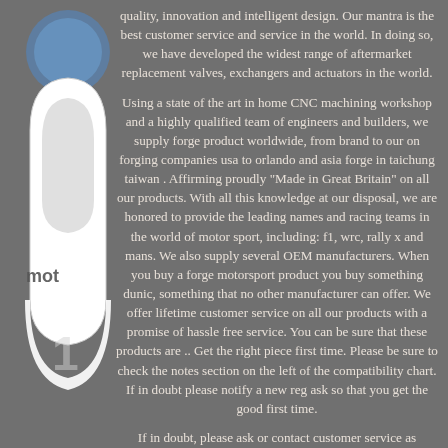[Figure (illustration): Partial view of a motorsport/forge company logo on the left side — shows a stylized helmet/figure in white and blue with 'mot' text visible]
quality, innovation and intelligent design. Our mantra is the best customer service and service in the world. In doing so, we have developed the widest range of aftermarket replacement valves, exchangers and actuators in the world.
Using a state of the art in home CNC machining workshop and a highly qualified team of engineers and builders, we supply forge product worldwide, from brand to our on forging companies usa to orlando and asia forge in taichung taiwan . Affirming proudly "Made in Great Britain" on all our products. With all this knowledge at our disposal, we are honored to provide the leading names and racing teams in the world of motor sport, including: f1, wrc, rally x and mans. We also supply several OEM manufacturers. When you buy a forge motorsport product you buy something dunic, something that no other manufacturer can offer. We offer lifetime customer service on all our products with a promise of hassle free service. You can be sure that these products are .. Get the right piece first time. Please be sure to check the notes section on the left of the compatibility chart. If in doubt please notify a new reg ask so that you get the good first time.
If in doubt, please ask or contact customer service as business seller information at the bottom of each listing. Please contact customer service if you have any questions.